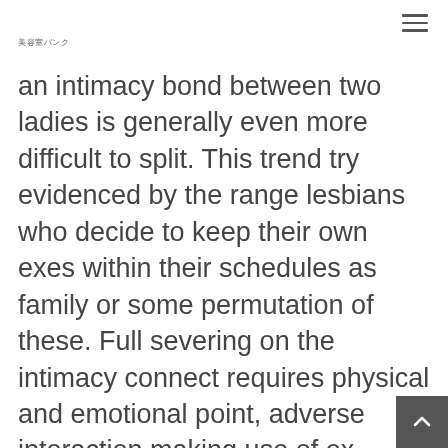美容室バンク
an intimacy bond between two ladies is generally even more difficult to split. This trend try evidenced by the range lesbians who decide to keep their own exes within their schedules as family or some permutation of these. Full severing on the intimacy connect requires physical and emotional point, adverse interaction making use of ex-partner, and forgiveness.These aim should not be accomplished with carried on call right after the breakup. Any correct friendshi or healthier continuation of